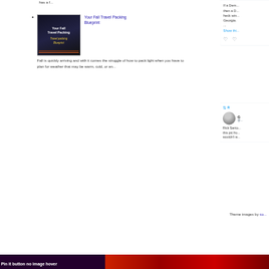has a f...
Your Fall Travel Packing Blueprint — Fall is quickly arriving and with it comes the struggle of how to pack light when you have to plan for weather that may be warm, cold, or an...
[Figure (screenshot): Thumbnail image for 'Your Fall Travel Packing Blueprint' blog post showing orange cords on dark background with text overlay]
If a Dem... then a D... heck win... Georgia. ... Show thi...
[Figure (screenshot): Twitter card with retweet icon, user avatar (black and white photo of person in hat), tweet text about Rick Santo... this pic fro... wouldn't w...]
Theme images by co...
[Figure (screenshot): Bottom bar with 'Pin it button no image hover' text on dark red/maroon background with images]